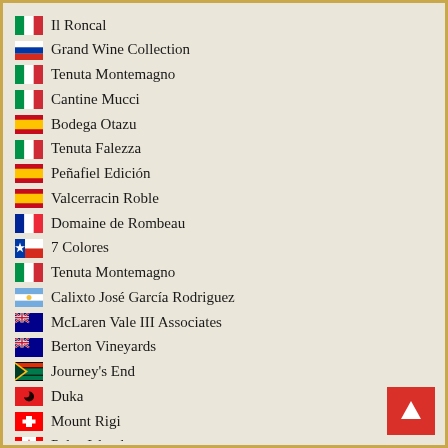Il Roncal
Grand Wine Collection
Tenuta Montemagno
Cantine Mucci
Bodega Otazu
Tenuta Falezza
Peñafiel Edición
Valcerracin Roble
Domaine de Rombeau
7 Colores
Tenuta Montemagno
Calixto José García Rodriguez
McLaren Vale III Associates
Berton Vineyards
Journey's End
Duka
Mount Rigi
Pelee Island
Le Morette
V-Sinne Gin